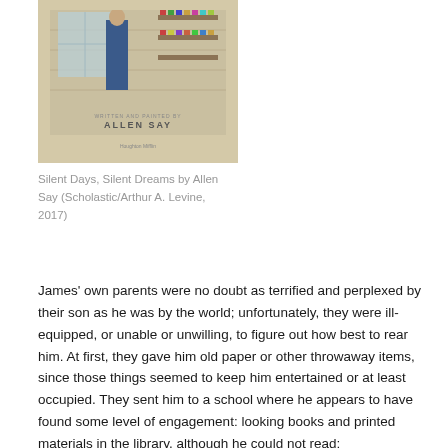[Figure (illustration): Book cover of 'Silent Days, Silent Dreams' by Allen Say, showing a figure standing in a wooden room near shelves with colorful items, published by Houghton Mifflin / Scholastic]
Silent Days, Silent Dreams by Allen Say (Scholastic/Arthur A. Levine, 2017)
James' own parents were no doubt as terrified and perplexed by their son as he was by the world; unfortunately, they were ill-equipped, or unable or unwilling, to figure out how best to rear him. At first, they gave him old paper or other throwaway items, since those things seemed to keep him entertained or at least occupied. They sent him to a school where he appears to have found some level of engagement: looking books and printed materials in the library, although he could not read: